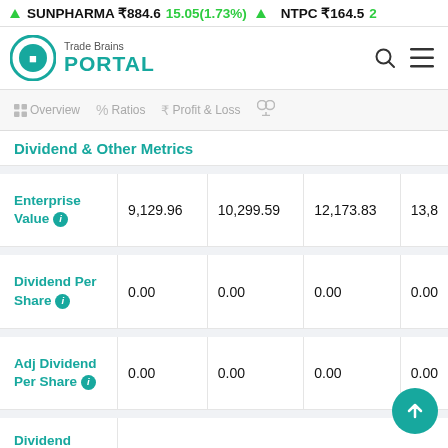SUNPHARMA ₹884.6  15.05(1.73%)  NTPC ₹164.5
[Figure (logo): Trade Brains Portal logo with teal circle icon and text 'Trade Brains PORTAL']
Overview  Ratios  Profit & Loss
Dividend & Other Metrics
| Metric | Value 1 | Value 2 | Value 3 | Value 4 |
| --- | --- | --- | --- | --- |
| Enterprise Value ℹ | 9,129.96 | 10,299.59 | 12,173.83 | 13,8 |
| Dividend Per Share ℹ | 0.00 | 0.00 | 0.00 | 0.00 |
| Adj Dividend Per Share ℹ | 0.00 | 0.00 | 0.00 | 0.00 |
| Dividend |  |  |  |  |